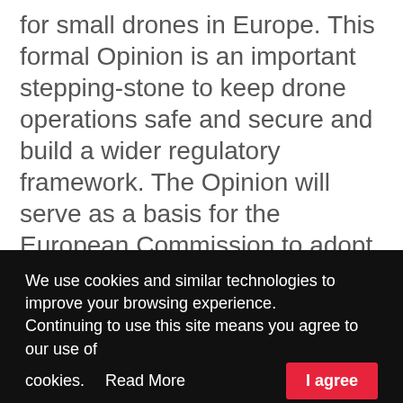for small drones in Europe. This formal Opinion is an important stepping-stone to keep drone operations safe and secure and build a wider regulatory framework. The Opinion will serve as a basis for the European Commission to adopt concrete regulatory proposals later in the year. A first meeting chaired by the European Commission to discuss this Opinion with the EU Member States already took place on … [Read more…]
We use cookies and similar technologies to improve your browsing experience. Continuing to use this site means you agree to our use of cookies.  Read More